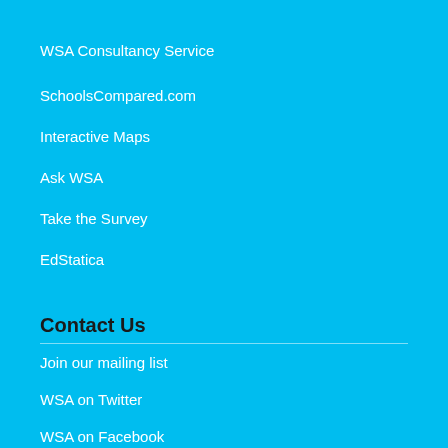WSA Consultancy Service
SchoolsCompared.com
Interactive Maps
Ask WSA
Take the Survey
EdStatica
Contact Us
Join our mailing list
WSA on Twitter
WSA on Facebook
WSA on Vimeo